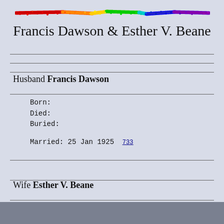[Figure (illustration): Rainbow-colored horizontal bar/line graphic spanning the top of the page, transitioning from red on the left through orange, yellow, green, cyan, blue, to purple/violet on the right, with slight waviness]
Francis Dawson & Esther V. Beane
Husband Francis Dawson
Born:
Died:
Buried:

Married: 25 Jan 1925 733
Wife Esther V. Beane